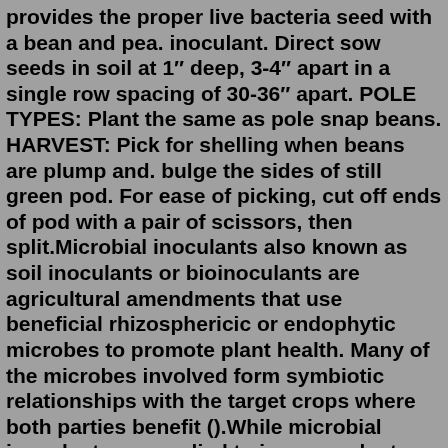provides the proper live bacteria seed with a bean and pea. inoculant. Direct sow seeds in soil at 1" deep, 3-4" apart in a single row spacing of 30-36" apart. POLE TYPES: Plant the same as pole snap beans. HARVEST: Pick for shelling when beans are plump and. bulge the sides of still green pod. For ease of picking, cut off ends of pod with a pair of scissors, then split.Microbial inoculants also known as soil inoculants or bioinoculants are agricultural amendments that use beneficial rhizosphericic or endophytic microbes to promote plant health. Many of the microbes involved form symbiotic relationships with the target crops where both parties benefit ().While microbial inoculants are applied to improve plant nutrition, they can also be used to promote plant ...Some people soak the bean seeds overnight before planting, but I haven't noticed a big difference in germination rate between soaked and unsoaked beans. The same goes for bean inoculant. I don't spend money on that. Don't get in too big a hurry to plant! If the soil is too cool, your beans won't